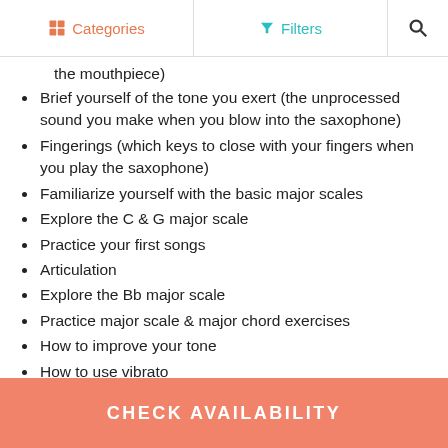Categories   Filters   [search]
the mouthpiece)
Brief yourself of the tone you exert (the unprocessed sound you make when you blow into the saxophone)
Fingerings (which keys to close with your fingers when you play the saxophone)
Familiarize yourself with the basic major scales
Explore the C & G major scale
Practice your first songs
Articulation
Explore the Bb major scale
Practice major scale & major chord exercises
How to improve your tone
How to use vibrato
Practice songs such as Green Sleeves, Amazing Grace, Can't Help Falling in Love, Over the Rainbow and more
CHECK AVAILABILITY